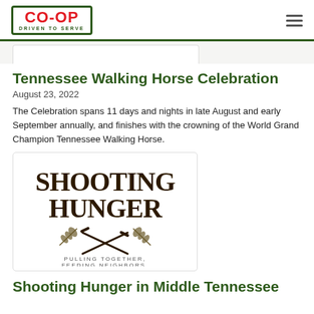CO-OP DRIVEN TO SERVE
[Figure (illustration): Partial image at top (cropped Tennessee Walking Horse Celebration image)]
Tennessee Walking Horse Celebration
August 23, 2022
The Celebration spans 11 days and nights in late August and early September annually, and finishes with the crowning of the World Grand Champion Tennessee Walking Horse.
[Figure (logo): Shooting Hunger logo — large bold text 'SHOOTING HUNGER' with crossed rifles and wheat stalks, tagline 'PULLING TOGETHER, FEEDING NEIGHBORS.']
Shooting Hunger in Middle Tennessee